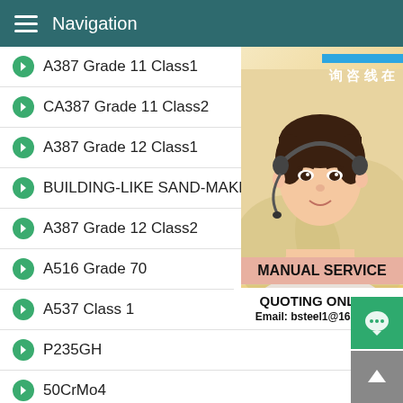Navigation
A387 Grade 11 Class1
CA387 Grade 11 Class2
A387 Grade 12 Class1
BUILDING-LIKE SAND-MAKER
A387 Grade 12 Class2
A516 Grade 70
A537 Class 1
P235GH
50CrMo4
51CrV4
42CrMo4
12Cr1MoV
[Figure (photo): Woman with headset customer service photo with online consultation badge in Chinese (在线咨询), MANUAL SERVICE label, QUOTING ONLINE text, Email: bsteel1@163.com]